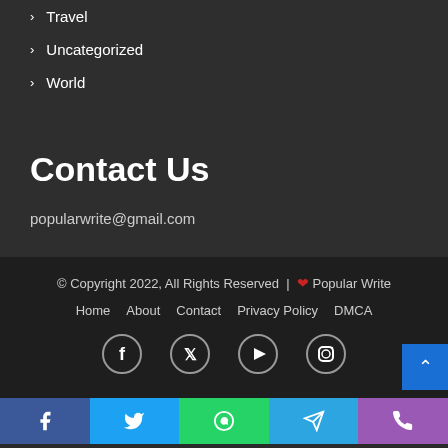Travel
Uncategorized
World
Contact Us
popularwrite@gmail.com
© Copyright 2022, All Rights Reserved | ❤ Popular Write
Home  About  Contact  Privacy Policy  DMCA
[Figure (other): Social media icons: Facebook, Twitter, YouTube, Instagram in circular outlines]
[Figure (other): Bottom share bar with Facebook, Twitter, WhatsApp, Telegram, Phone icons in colored blocks]